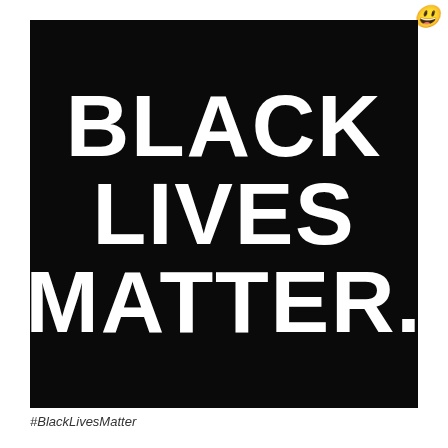[Figure (illustration): Black square image with large bold white text reading 'BLACK LIVES MATTER.' centered on a black background]
#BlackLivesMatter